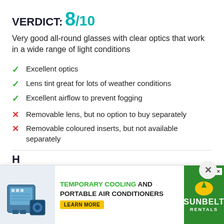VERDICT:
8/10
Very good all-round glasses with clear optics that work in a wide range of light conditions
✓ Excellent optics
✓ Lens tint great for lots of weather conditions
✓ Excellent airflow to prevent fogging
✗ Removable lens, but no option to buy separately
✗ Removable coloured inserts, but not available separately
WEIGHT: 35g
CONTACT: www.ison-distribution.com
[Figure (screenshot): Advertisement banner for temporary cooling and portable air conditioners by Sunbelt Rentals]